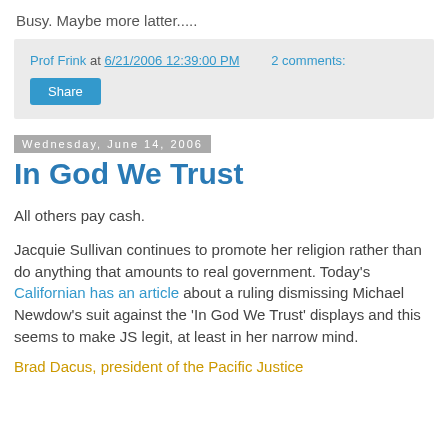Busy. Maybe more latter.....
Prof Frink at 6/21/2006 12:39:00 PM   2 comments:
Share
Wednesday, June 14, 2006
In God We Trust
All others pay cash.
Jacquie Sullivan continues to promote her religion rather than do anything that amounts to real government. Today's Californian has an article about a ruling dismissing Michael Newdow's suit against the 'In God We Trust' displays and this seems to make JS legit, at least in her narrow mind.
Brad Dacus, president of the Pacific Justice